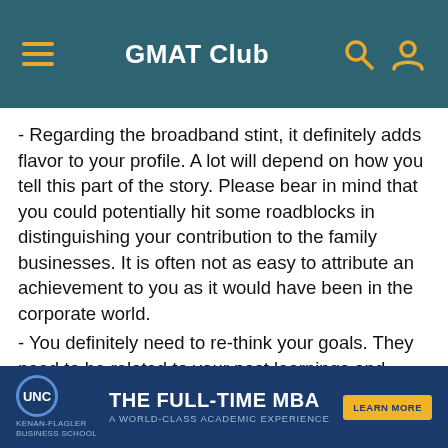GMAT Club
- Regarding the broadband stint, it definitely adds flavor to your profile. A lot will depend on how you tell this part of the story. Please bear in mind that you could potentially hit some roadblocks in distinguishing your contribution to the family businesses. It is often not as easy to attribute an achievement to you as it would have been in the corporate world.
- You definitely need to re-think your goals. They need to be related to your past learnings and achievements, else it may seem like you pulled a rabbit out of the hat.
- Your extracurriculars are great. You may also want to look at some recent extracurriculars, as the ones from college might seem a little dated.
To summarize, a great GMAT and clear goals that are mapped
[Figure (other): UNC Kenan-Flagler Business School advertisement banner: THE FULL-TIME MBA - A WORLD-CLASS ACADEMIC EXPERIENCE with LEARN MORE button]